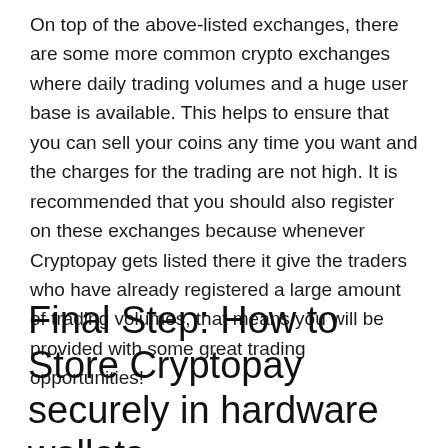On top of the above-listed exchanges, there are some more common crypto exchanges where daily trading volumes and a huge user base is available. This helps to ensure that you can sell your coins any time you want and the charges for the trading are not high. It is recommended that you should also register on these exchanges because whenever Cryptopay gets listed there it give the traders who have already registered a large amount of trading volumes, that means you will be provided with some great trading opportunities!
Final Step: How to Store Cryptopay securely in hardware wallets